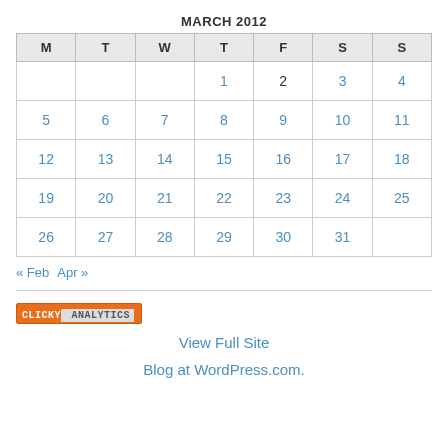MARCH 2012
| M | T | W | T | F | S | S |
| --- | --- | --- | --- | --- | --- | --- |
|  |  |  | 1 | 2 | 3 | 4 |
| 5 | 6 | 7 | 8 | 9 | 10 | 11 |
| 12 | 13 | 14 | 15 | 16 | 17 | 18 |
| 19 | 20 | 21 | 22 | 23 | 24 | 25 |
| 26 | 27 | 28 | 29 | 30 | 31 |  |
« Feb   Apr »
[Figure (logo): Clicky Analytics badge/logo — orange rectangle with white bold text 'CLICKY' and grey text 'ANALYTICS' in monospace font]
View Full Site
Blog at WordPress.com.